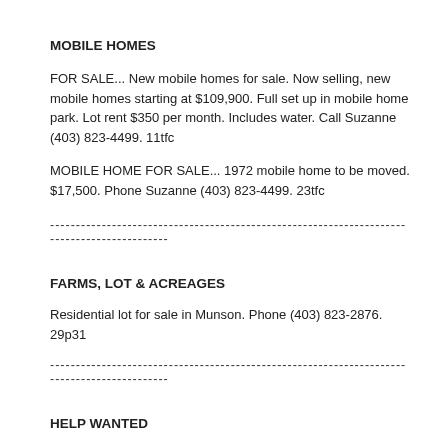MOBILE HOMES
FOR SALE... New mobile homes for sale. Now selling, new mobile homes starting at $109,900. Full set up in mobile home park. Lot rent $350 per month. Includes water. Call Suzanne (403) 823-4499. 11tfc
MOBILE HOME FOR SALE... 1972 mobile home to be moved. $17,500. Phone Suzanne (403) 823-4499. 23tfc
--------------------------------------------------------------------------------------------
FARMS, LOT & ACREAGES
Residential lot for sale in Munson. Phone (403) 823-2876.    29p31
--------------------------------------------------------------------------------------------
HELP WANTED